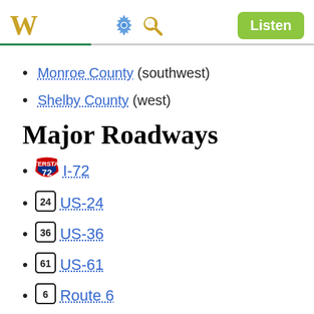W [settings] [search] Listen
Monroe County (southwest)
Shelby County (west)
Major Roadways
I-72
US-24
US-36
US-61
Route 6